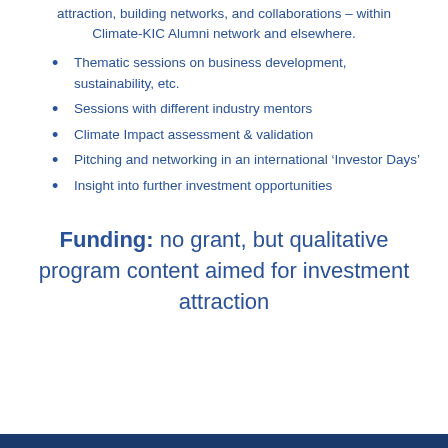attraction, building networks, and collaborations – within Climate-KIC Alumni network and elsewhere.
Thematic sessions on business development, sustainability, etc.
Sessions with different industry mentors
Climate Impact assessment & validation
Pitching and networking in an international ‘Investor Days’
Insight into further investment opportunities
Funding: no grant, but qualitative program content aimed for investment attraction